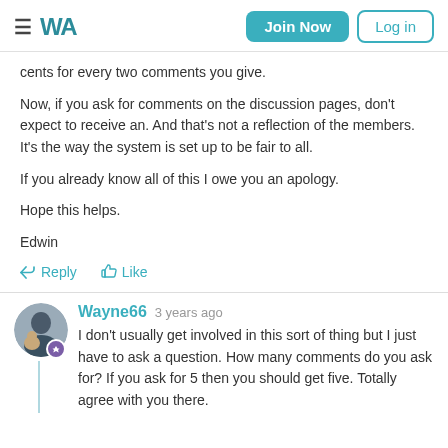WA | Join Now | Log in
cents for every two comments you give.
Now, if you ask for comments on the discussion pages, don't expect to receive an. And that's not a reflection of the members. It's the way the system is set up to be fair to all.
If you already know all of this I owe you an apology.
Hope this helps.
Edwin
Reply  Like
Wayne66  3 years ago
I don't usually get involved in this sort of thing but I just have to ask a question. How many comments do you ask for? If you ask for 5 then you should get five. Totally agree with you there.